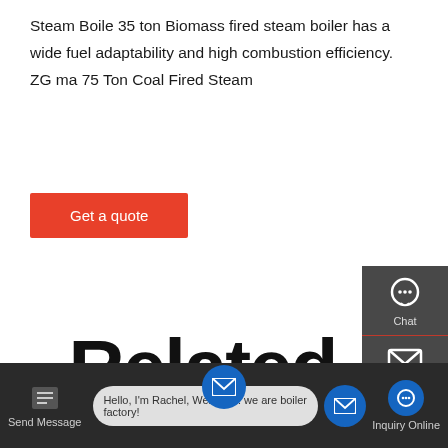Steam Boile 35 ton Biomass fired steam boiler has a wide fuel adaptability and high combustion efficiency. ZG ma 75 Ton Coal Fired Steam
[Figure (other): Red 'Get a quote' button]
[Figure (other): Right sidebar with Chat, Email, and Contact icons on dark background, plus a TOP badge button]
Related Information
8 Ton Biomass Boiler Machine Kazakhstan
8 Ton Diesel Boiler Plant Distributor
[Figure (other): Bottom dark bar with Send Message, chat bubble saying 'Hello, I'm Rachel, Welcome! we are boiler factory!', blue mail icon, and Inquiry Online button]